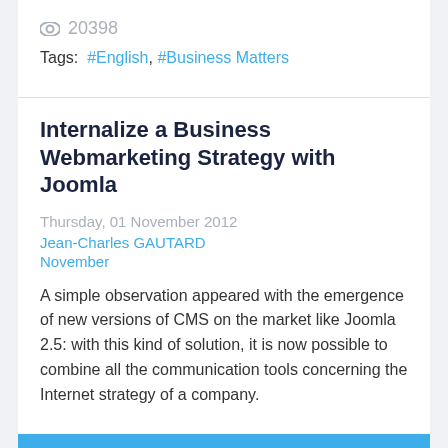20398
Tags: #English, #Business Matters
Internalize a Business Webmarketing Strategy with Joomla
Thursday, 01 November 2012
Jean-Charles GAUTARD
November
A simple observation appeared with the emergence of new versions of CMS on the market like Joomla 2.5: with this kind of solution, it is now possible to combine all the communication tools concerning the Internet strategy of a company.